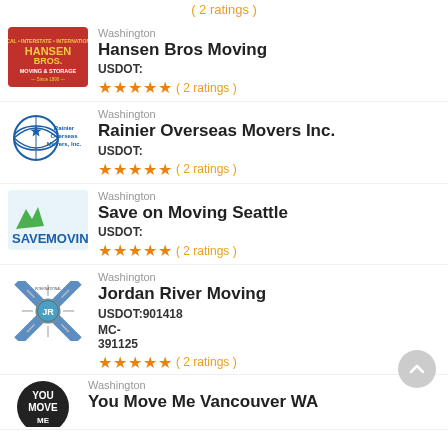( 2 ratings )
Washington
Hansen Bros Moving
USDOT:
★★★★★ ( 2 ratings )
Washington
Rainier Overseas Movers Inc.
USDOT:
★★★★★ ( 2 ratings )
Washington
Save on Moving Seattle
USDOT:
★★★★★ ( 2 ratings )
Washington
Jordan River Moving
USDOT:901418
MC-391125
★★★★★ ( 2 ratings )
Washington
You Move Me Vancouver WA